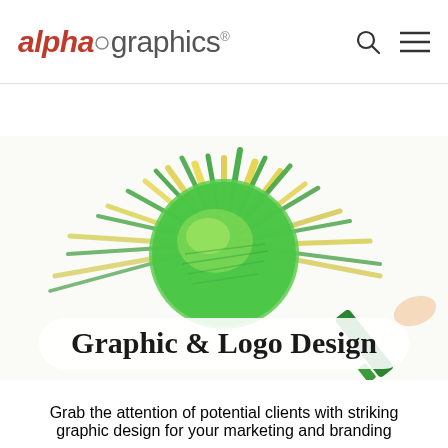alphagraphics® | AlphaGraphics Rockwall
[Figure (photo): A child's hand drawing a sun with green and yellow markers on white paper — a bright green circle with radiating green and yellow lines representing sun rays, with a green marker visible at the bottom right.]
Graphic & Logo Design
Grab the attention of potential clients with striking graphic design for your marketing and branding